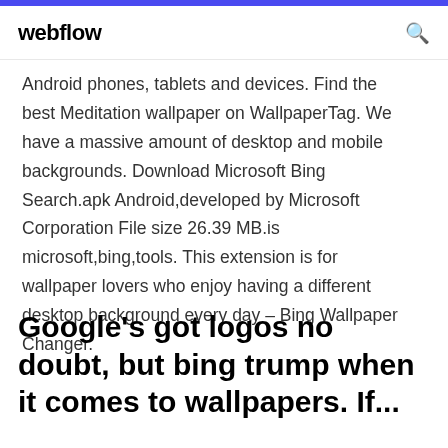webflow
Android phones, tablets and devices. Find the best Meditation wallpaper on WallpaperTag. We have a massive amount of desktop and mobile backgrounds. Download Microsoft Bing Search.apk Android,developed by Microsoft Corporation File size 26.39 MB.is microsoft,bing,tools. This extension is for wallpaper lovers who enjoy having a different desktop background every day – Bing Wallpaper Changer.
Google's got logos no doubt, but bing trump when it comes to wallpapers. If...